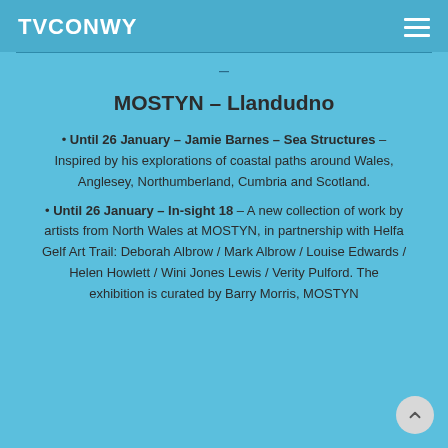TVCONWY
MOSTYN – Llandudno
Until 26 January – Jamie Barnes – Sea Structures – Inspired by his explorations of coastal paths around Wales, Anglesey, Northumberland, Cumbria and Scotland.
Until 26 January – In-sight 18 – A new collection of work by artists from North Wales at MOSTYN, in partnership with Helfa Gelf Art Trail: Deborah Albrow / Mark Albrow / Louise Edwards / Helen Howlett / Wini Jones Lewis / Verity Pulford. The exhibition is curated by Barry Morris, MOSTYN